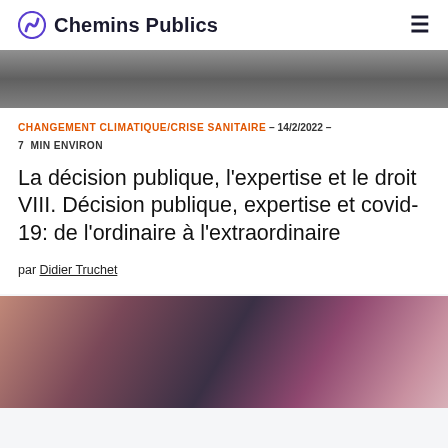Chemins Publics
[Figure (photo): Top cropped black and white photo showing a textured dark surface (appears to be fabric or leather)]
CHANGEMENT CLIMATIQUE/CRISE SANITAIRE - 14/2/2022 - 7 MIN ENVIRON
La décision publique, l'expertise et le droit VIII. Décision publique, expertise et covid-19: de l'ordinaire à l'extraordinaire
par Didier Truchet
[Figure (photo): Bottom photo showing a blurred close-up with pink/magenta streaks and a person in the background, medical or scientific context]